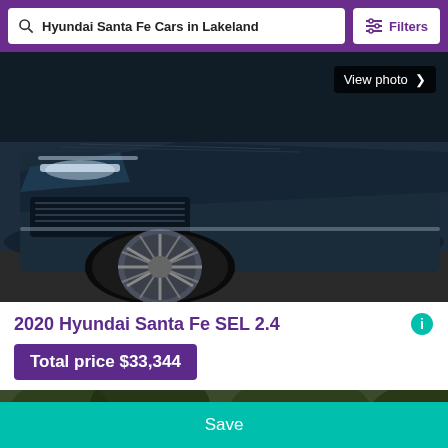Hyundai Santa Fe Cars in Lakeland | Filters
[Figure (photo): Front/side view of a dark navy blue Hyundai Santa Fe SUV, close-up on the front wheel and headlights. A 'View photo >' button is overlaid in the top-right corner.]
2020 Hyundai Santa Fe SEL 2.4
Total price $33,344
2020 | 0 miles
Lakeland, Florida
Apr 18, 2022
[Figure (photo): Partially visible image of another car in a wooded outdoor setting.]
Save